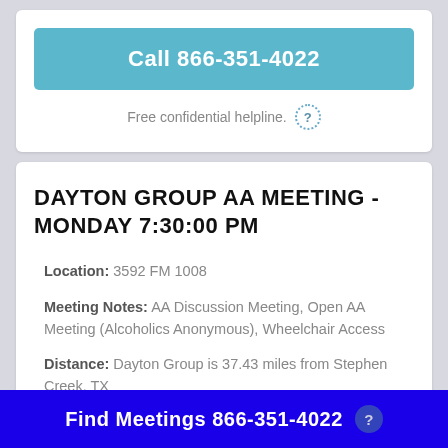Call 866-351-4022
Free confidential helpline.
DAYTON GROUP AA MEETING - MONDAY 7:30:00 PM
Location: 3592 FM 1008
Meeting Notes: AA Discussion Meeting, Open AA Meeting (Alcoholics Anonymous), Wheelchair Access
Distance: Dayton Group is 37.43 miles from Stephen Creek, TX
Find Meetings 866-351-4022